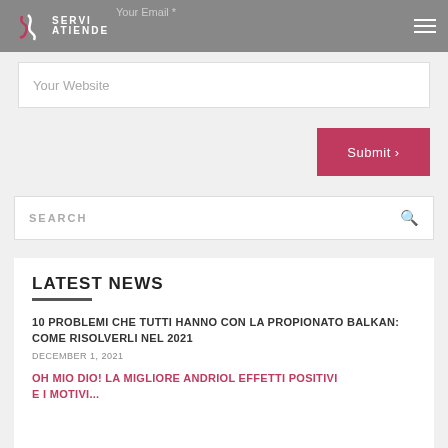SERVI ATIENDE
Your Email *
Your Website
Submit ›
SEARCH
LATEST NEWS
10 PROBLEMI CHE TUTTI HANNO CON LA PROPIONATO BALKAN: COME RISOLVERLI NEL 2021
DECEMBER 1, 2021
OH MIO DIO! LA MIGLIORE ANDRIOL EFFETTI POSITIVI E I MOTIVI...